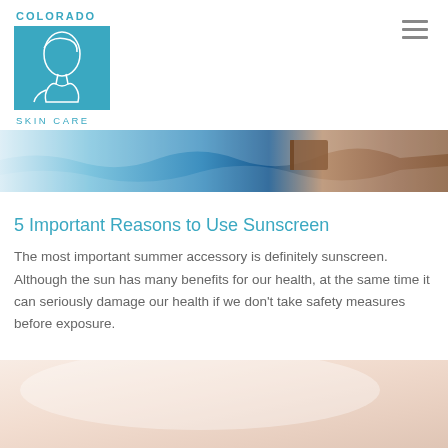[Figure (logo): Colorado Skin Care logo with teal square containing line art of a face/figure, with 'COLORADO' text above and 'SKIN CARE' text below]
[Figure (photo): Hero banner image showing a person at the beach with a book, blue ocean and sandy scene]
5 Important Reasons to Use Sunscreen
The most important summer accessory is definitely sunscreen. Although the sun has many benefits for our health, at the same time it can seriously damage our health if we don't take safety measures before exposure.
[Figure (photo): Bottom image showing a soft peach/skin-toned photo, partially visible, likely showing someone applying sunscreen]